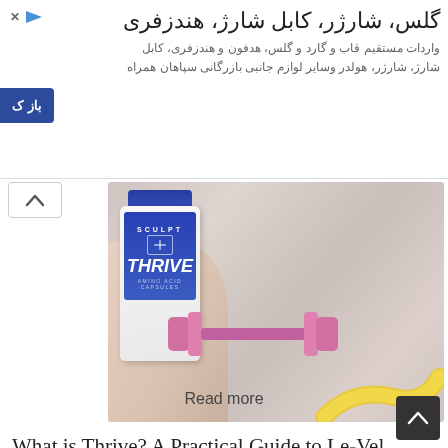[Figure (screenshot): Advertisement banner in Farsi/Persian for a mobile accessories store (glasses, charger, cable, Bluetooth). Includes store name in large Persian text and description text, with a dark blue call-to-action button labeled 'باز ک' on the left side.]
[Figure (photo): Product photo showing a hand holding a white supplement bottle labeled 'SCULPT THRIVE AMINO ACID CAPSULES' with a pink dumbbell and yellow measuring tape in the background.]
What is Thrive? A Practical Guide to Le-Vel
Read more